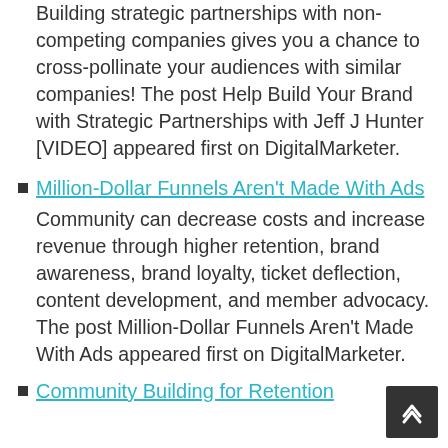Building strategic partnerships with non-competing companies gives you a chance to cross-pollinate your audiences with similar companies! The post Help Build Your Brand with Strategic Partnerships with Jeff J Hunter [VIDEO] appeared first on DigitalMarketer.
Million-Dollar Funnels Aren't Made With Ads
Community can decrease costs and increase revenue through higher retention, brand awareness, brand loyalty, ticket deflection, content development, and member advocacy.  The post Million-Dollar Funnels Aren't Made With Ads appeared first on DigitalMarketer.
Community Building for Retention